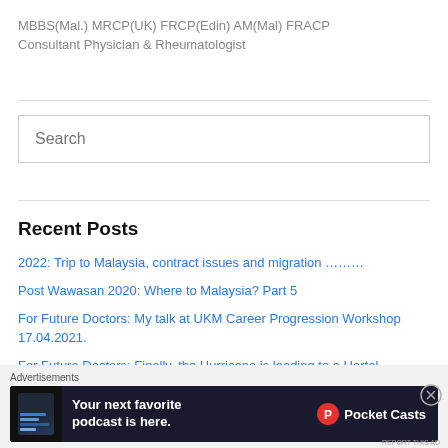MBBS(Mal.) MRCP(UK) FRCP(Edin) AM(Mal) FRACP
Consultant Physician & Rheumatologist
Recent Posts
2022: Trip to Malaysia, contract issues and migration ………
Post Wawasan 2020: Where to Malaysia? Part 5
For Future Doctors: My talk at UKM Career Progression Workshop 17.04.2021.
For Future Doctors: Finally, the Hurricane is leading to a Hartal……….
[Figure (screenshot): Advertisement banner for Pocket Casts podcast app. Dark background with text: 'Your next favorite podcast is here.' and the Pocket Casts logo.]